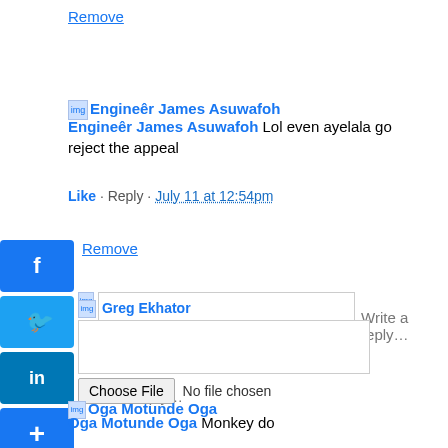Remove
[Figure (screenshot): Avatar placeholder image for Engineêr James Asuwafoh]
Engineêr James Asuwafoh Lol even ayelala go reject the appeal
Like · Reply · July 11 at 12:54pm
[Figure (infographic): Social share buttons: Facebook, Twitter, LinkedIn, Plus]
Remove
[Figure (screenshot): Avatar placeholder image for Greg Ekhator with reply box]
Choose File No file chosen
[Figure (screenshot): Avatar placeholder image for Oga Motunde Oga]
Oga Motunde Oga Monkey do
Like · Reply · July 10 at 11:20pm
Remove
[Figure (infographic): Social share buttons: Facebook, Twitter, LinkedIn, Plus]
[Figure (screenshot): Avatar placeholder image for Prince Marvin Favourite]